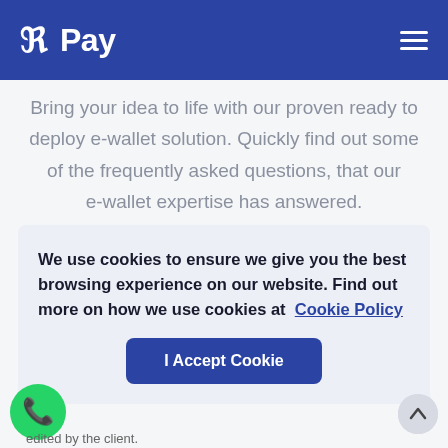R Pay [logo] — navigation hamburger menu
Bring your idea to life with our proven ready to deploy e-wallet solution. Quickly find out some of the frequently asked questions, that our e-wallet expertise has answered.
We use cookies to ensure we give you the best browsing experience on our website. Find out more on how we use cookies at Cookie Policy
I Accept Cookie
edited by the client.